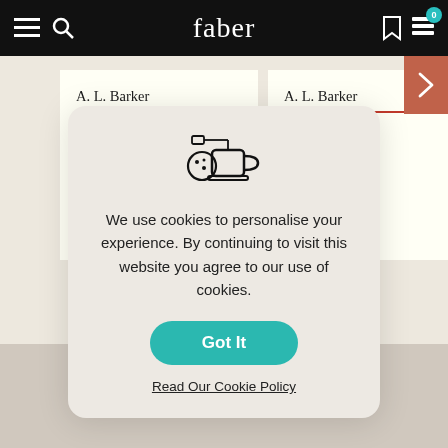faber
A. L. Barker
Innocents
Variations on a Theme
A. L. Barker
The Haunt
[Figure (screenshot): Cookie consent modal with cookie/mug icon, text about cookie usage, a teal 'Got It' button, and a 'Read Our Cookie Policy' link]
We use cookies to personalise your experience. By continuing to visit this website you agree to our use of cookies.
Got It
Read Our Cookie Policy